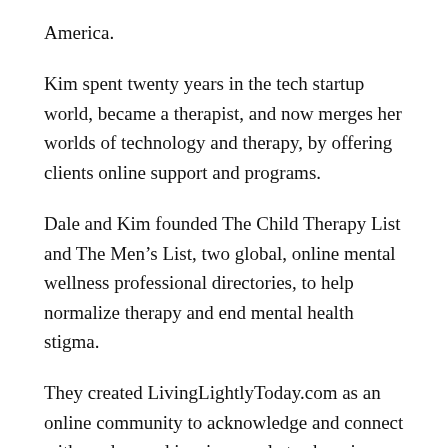America.
Kim spent twenty years in the tech startup world, became a therapist, and now merges her worlds of technology and therapy, by offering clients online support and programs.
Dale and Kim founded The Child Therapy List and The Men's List, two global, online mental wellness professional directories, to help normalize therapy and end mental health stigma.
They created LivingLightlyToday.com as an online community to acknowledge and connect with readers and inspire people to share in